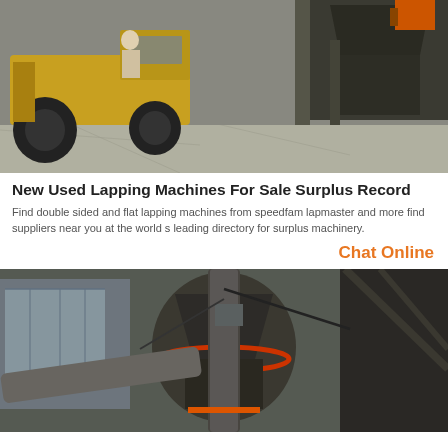[Figure (photo): Industrial facility with yellow forklift/loader on left and large metal crushing/processing machinery on right, concrete floor, grey exterior]
New Used Lapping Machines For Sale Surplus Record
Find double sided and flat lapping machines from speedfam lapmaster and more find suppliers near you at the world s leading directory for surplus machinery.
Chat Online
[Figure (photo): Industrial processing plant machinery showing large cylindrical metal tanks, pipes and ductwork, steel structure framework, industrial equipment facility]